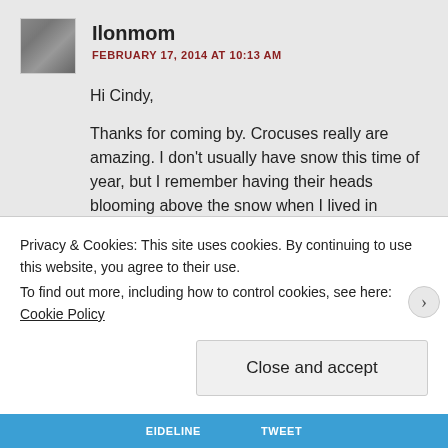Ilonmom
FEBRUARY 17, 2014 AT 10:13 AM
Hi Cindy,
Thanks for coming by. Crocuses really are amazing. I don't usually have snow this time of year, but I remember having their heads blooming above the snow when I lived in Indiana.
Yael
Privacy & Cookies: This site uses cookies. By continuing to use this website, you agree to their use.
To find out more, including how to control cookies, see here: Cookie Policy
Close and accept